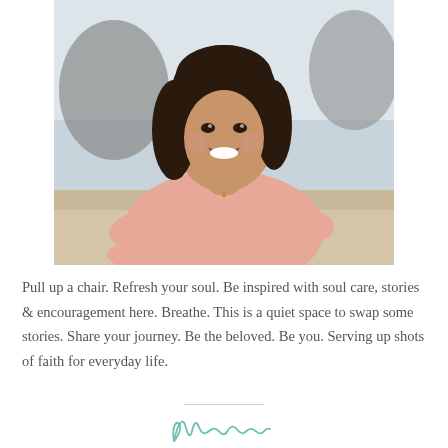[Figure (photo): Portrait photo of a smiling Asian woman with shoulder-length dark hair, wearing a pink top and a delicate necklace, photographed outdoors at a beach with rocks and sand visible in the background.]
Pull up a chair. Refresh your soul. Be inspired with soul care, stories & encouragement here. Breathe. This is a quiet space to swap some stories. Share your journey. Be the beloved. Be you. Serving up shots of faith for everyday life.
[Figure (illustration): Cursive script signature or name in teal/mint color, partially visible at the bottom of the page.]